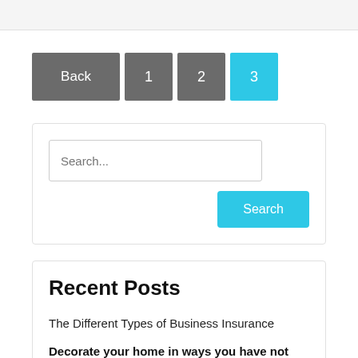Back 1 2 3
Search...
Search
Recent Posts
The Different Types of Business Insurance
Decorate your home in ways you have not